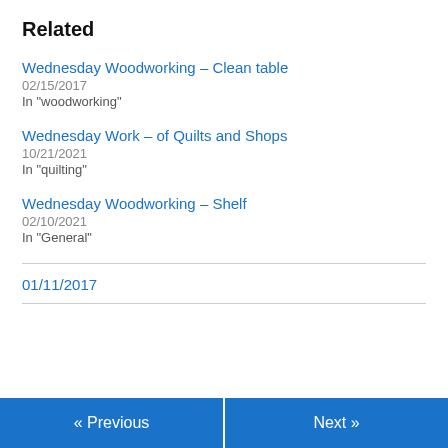Related
Wednesday Woodworking – Clean table
02/15/2017
In "woodworking"
Wednesday Work – of Quilts and Shops
10/21/2021
In "quilting"
Wednesday Woodworking – Shelf
02/10/2021
In "General"
01/11/2017
« Previous
Next »